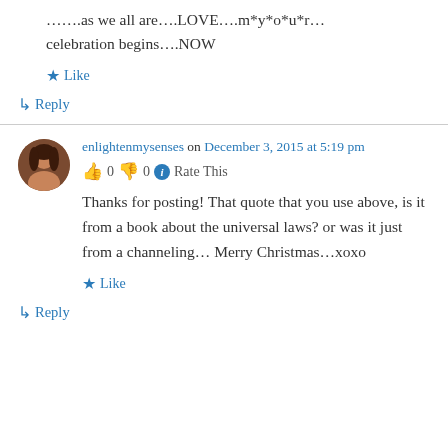…….as we all are….LOVE….m*y*o*u*r… celebration begins….NOW
Like
↳ Reply
enlightenmysenses on December 3, 2015 at 5:19 pm
👍 0 👎 0 ℹ Rate This
Thanks for posting! That quote that you use above, is it from a book about the universal laws? or was it just from a channeling… Merry Christmas…xoxo
Like
↳ Reply